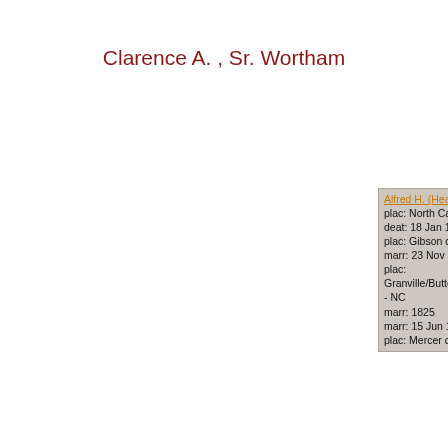Clarence A. , Sr. Wortham
Alfred H. (Heath?...
birt: ABT 1781
plac: North Carol...
deat: 18 Jan 184...
plac: Gibson cou...
marr: 23 Nov 181...
plac: Granville/Butte/W... - NC
marr: 1825
marr: 15 Jun 182...
plac: Mercer cou...
Edward Horace Rev. Wortham
birt: 1 Aug 1825
plac: Bedford county, Tennessee
deat: 11 Feb 1875
plac: Lamar county, Texas
marr: 17 May 1849
plac: Shelby county
Maxwell Wortham
birt: 30 May 1907